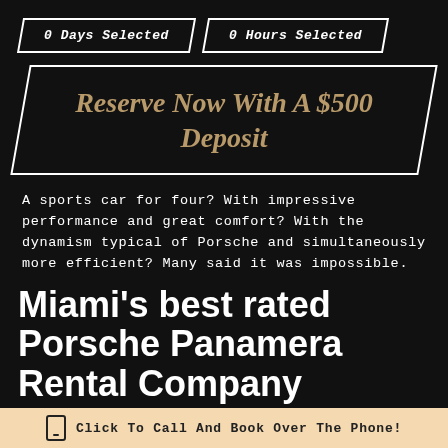0 Days Selected
0 Hours Selected
Reserve Now With A $500 Deposit
A sports car for four? With impressive performance and great comfort? With the dynamism typical of Porsche and simultaneously more efficient? Many said it was impossible.
Miami's best rated Porsche Panamera Rental Company
Click To Call And Book Over The Phone!